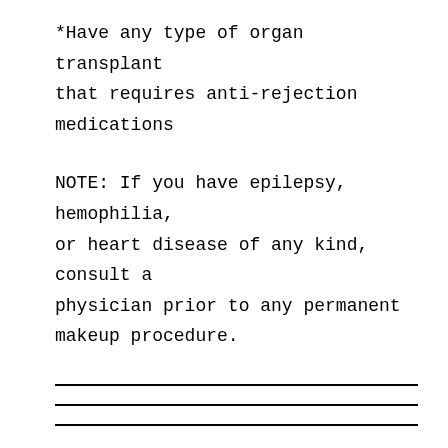*Have any type of organ transplant that requires anti-rejection medications
NOTE: If you have epilepsy, hemophilia, or heart disease of any kind, consult a physician prior to any permanent makeup procedure.
The hair stroke technique WILL NOT work on everyone.